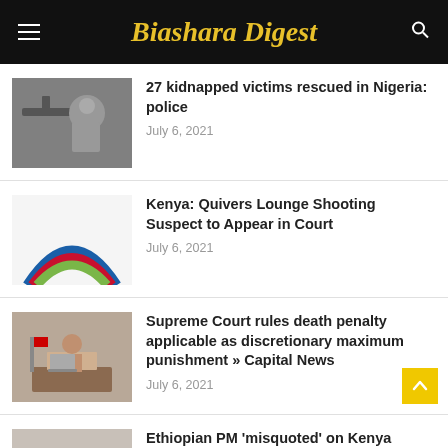Biashara Digest
27 kidnapped victims rescued in Nigeria: police
July 6, 2021
Kenya: Quivers Lounge Shooting Suspect to Appear in Court
July 6, 2021
Supreme Court rules death penalty applicable as discretionary maximum punishment » Capital News
July 6, 2021
Ethiopian PM 'misquoted' on Kenya